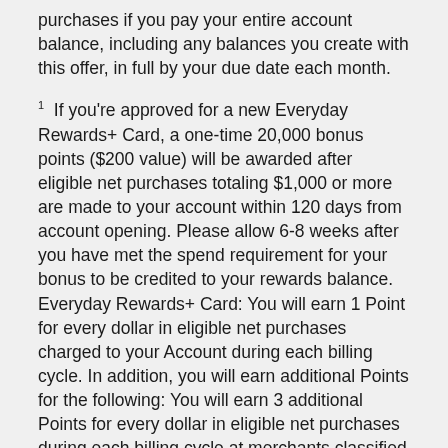purchases if you pay your entire account balance, including any balances you create with this offer, in full by your due date each month.
1  If you're approved for a new Everyday Rewards+ Card, a one-time 20,000 bonus points ($200 value) will be awarded after eligible net purchases totaling $1,000 or more are made to your account within 120 days from account opening. Please allow 6-8 weeks after you have met the spend requirement for your bonus to be credited to your rewards balance. Everyday Rewards+ Card: You will earn 1 Point for every dollar in eligible net purchases charged to your Account during each billing cycle. In addition, you will earn additional Points for the following: You will earn 3 additional Points for every dollar in eligible net purchases during each billing cycle at merchants classified as a restaurant, fast-food restaurant or bar. You will earn 1 additional Point for every dollar in eligible net purchases during each billing cycle at